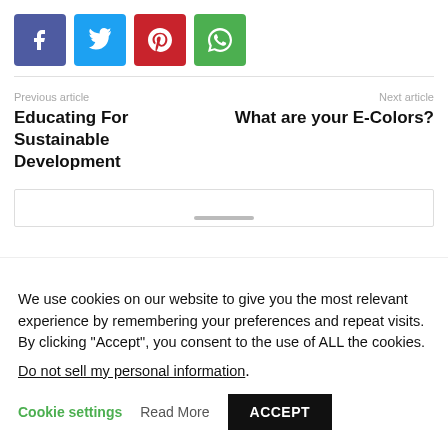[Figure (other): Social sharing icons: Facebook (blue-purple), Twitter (light blue), Pinterest (red), WhatsApp (green)]
Previous article
Educating For Sustainable Development
Next article
What are your E-Colors?
We use cookies on our website to give you the most relevant experience by remembering your preferences and repeat visits. By clicking “Accept”, you consent to the use of ALL the cookies.
Do not sell my personal information.
Cookie settings   Read More   ACCEPT